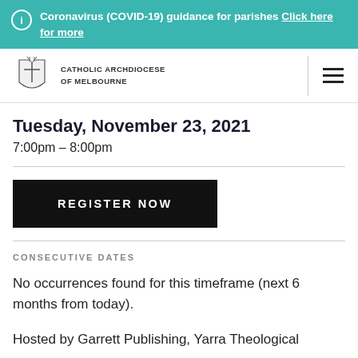Coronavirus (COVID-19) guidance for parishes Click here for more
[Figure (logo): Catholic Archdiocese of Melbourne logo with shield and cross emblem]
CATHOLIC ARCHDIOCESE OF MELBOURNE
Tuesday, November 23, 2021
7:00pm – 8:00pm
REGISTER NOW
CONSECUTIVE DATES
No occurrences found for this timeframe (next 6 months from today).
Hosted by Garrett Publishing, Yarra Theological